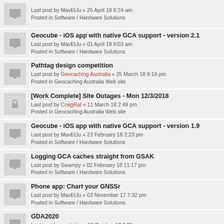Last post by MavEtJu « 25 April 18 8:24 am
Posted in Software / Hardware Solutions
Geocube - iOS app with native GCA support - version 2.1
Last post by MavEtJu « 01 April 18 9:03 am
Posted in Software / Hardware Solutions
Pathtag design competition
Last post by Geocaching Australia « 25 March 18 9:19 pm
Posted in Geocaching Australia Web site
[Work Complete] Site Outages - Mon 12/3/2018
Last post by CraigRat « 11 March 18 2:49 pm
Posted in Geocaching Australia Web site
Geocube - iOS app with native GCA support - version 1.9
Last post by MavEtJu « 23 February 18 2:23 pm
Posted in Software / Hardware Solutions
Logging GCA caches straight from GSAK
Last post by Swampy « 02 February 18 11:17 pm
Posted in Software / Hardware Solutions
Phone app: Chart your GNSSr
Last post by MavEtJu « 03 November 17 7:32 pm
Posted in Software / Hardware Solutions
GDA2020
Last post by spatialriq « 17 October 17 3:09 pm
Posted in General Chit-Chat
Geocube - iOS app with native GCA support - version 1.6
Last post by MavEtJu « 23 September 17 4:20 pm
Posted in Software / Hardware Solutions